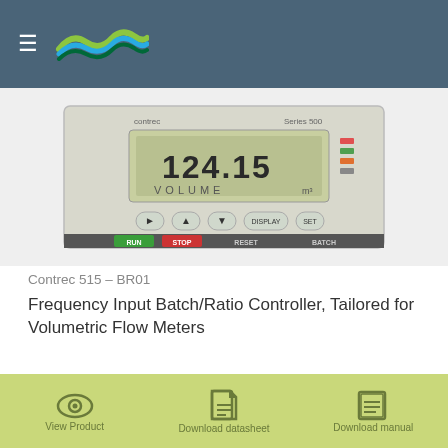contrec
[Figure (photo): Contrec 515 BR01 batch/ratio controller device showing LCD display with '124.15' and 'VOLUME' text, with RUN, STOP, RESET, BATCH buttons]
Contrec 515 – BR01
Frequency Input Batch/Ratio Controller, Tailored for Volumetric Flow Meters
[Figure (infographic): Three action buttons: View Product (eye icon), Download datasheet (document icon), Download manual (book icon)]